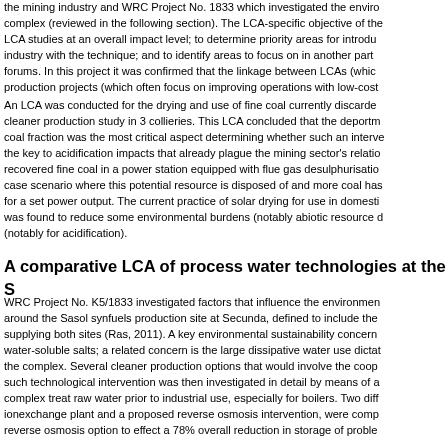the mining industry and WRC Project No. 1833 which investigated the environmental impacts around the Sasol complex (reviewed in the following section). The LCA-specific objective of the project was to compare LCA studies at an overall impact level; to determine priority areas for introducing cleaner production in this industry with the technique; and to identify areas to focus on in another part of the WRC LCA research forums. In this project it was confirmed that the linkage between LCAs (which focus on major impacts) and cleaner production projects (which often focus on improving operations with low-cost interventions)...
An LCA was conducted for the drying and use of fine coal currently discarded at a colliery, as part of a cleaner production study in 3 collieries. This LCA concluded that the deportment (fate) of the fine coal fraction was the most critical aspect determining whether such an intervention is beneficial. SO2 is the key to acidification impacts that already plague the mining sector's relationship with society. Using recovered fine coal in a power station equipped with flue gas desulphurisation (FGD) is better than a base case scenario where this potential resource is disposed of and more coal has to be mined and transported for a set power output. The current practice of solar drying for use in domestic (township) applications was found to reduce some environmental burdens (notably abiotic resource depletion) but increase others (notably for acidification).
A comparative LCA of process water technologies at the S...
WRC Project No. K5/1833 investigated factors that influence the environmental impacts of water use around the Sasol synfuels production site at Secunda, defined to include the two collieries supplying both sites (Ras, 2011). A key environmental sustainability concern is the accumulation of water-soluble salts; a related concern is the large dissipative water use dictated by the dry-cooling at the complex. Several cleaner production options that would involve the cooperation of utilities at the complex were identified; such technological intervention was then investigated in detail by means of a comparative LCA. The complex treat raw water prior to industrial use, especially for boilers. Two different technologies, an ionexchange plant and a proposed reverse osmosis intervention, were compared. Results indicated the reverse osmosis option to effect a 78% overall reduction in storage of problem...